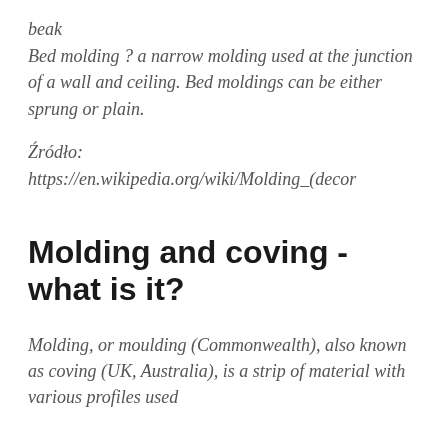beak
Bed molding ? a narrow molding used at the junction of a wall and ceiling. Bed moldings can be either sprung or plain.
Źródło:
https://en.wikipedia.org/wiki/Molding_(decor
Molding and coving - what is it?
Molding, or moulding (Commonwealth), also known as coving (UK, Australia), is a strip of material with various profiles used